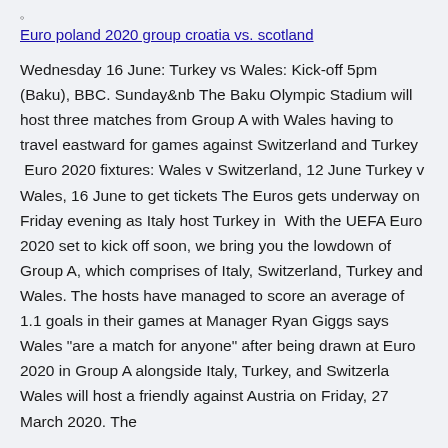Euro poland 2020 group croatia vs. scotland
Wednesday 16 June: Turkey vs Wales: Kick-off 5pm (Baku), BBC. Sunday&nb The Baku Olympic Stadium will host three matches from Group A with Wales having to travel eastward for games against Switzerland and Turkey  Euro 2020 fixtures: Wales v Switzerland, 12 June Turkey v Wales, 16 June to get tickets The Euros gets underway on Friday evening as Italy host Turkey in  With the UEFA Euro 2020 set to kick off soon, we bring you the lowdown of Group A, which comprises of Italy, Switzerland, Turkey and Wales. The hosts have managed to score an average of 1.1 goals in their games at Manager Ryan Giggs says Wales "are a match for anyone" after being drawn at Euro 2020 in Group A alongside Italy, Turkey, and Switzerla Wales will host a friendly against Austria on Friday, 27 March 2020. The